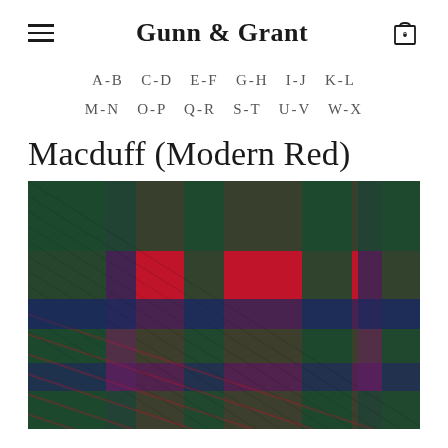Gunn & Grant
A-B  C-D  E-F  G-H  I-J  K-L
M-N  O-P  Q-R  S-T  U-V  W-X
Macduff (Modern Red)
[Figure (photo): Close-up photograph of Macduff Modern Red tartan fabric showing a plaid weave pattern with colors including red, dark green, navy blue, and black in a traditional Scottish tartan check pattern.]